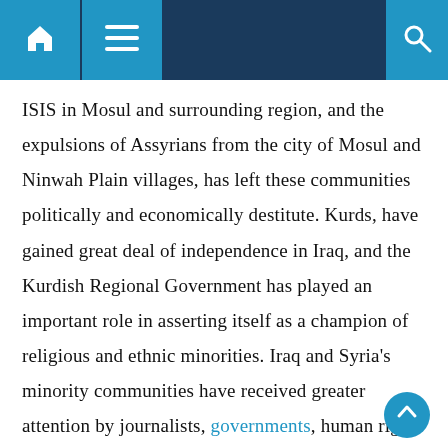Navigation bar with home, menu, and search icons
ISIS in Mosul and surrounding region, and the expulsions of Assyrians from the city of Mosul and Ninwah Plain villages, has left these communities politically and economically destitute. Kurds, have gained great deal of independence in Iraq, and the Kurdish Regional Government has played an important role in asserting itself as a champion of religious and ethnic minorities. Iraq and Syria's minority communities have received greater attention by journalists, governments, human rights organizations, and academics since the rise of the Islamic State of Iraq and Syria (ISIS). Assyrians (Syriacs and Chaldeans), Yazidies, and Kurds are some of the many ethnic and religious groups that have become the focus of attention in